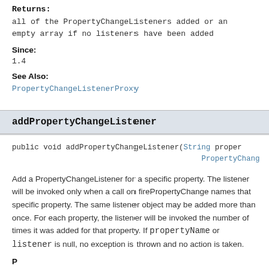Returns:
all of the PropertyChangeListeners added or an empty array if no listeners have been added
Since:
1.4
See Also:
PropertyChangeListenerProxy
addPropertyChangeListener
public void addPropertyChangeListener(String propertyName, PropertyChangeListener listener)
Add a PropertyChangeListener for a specific property. The listener will be invoked only when a call on firePropertyChange names that specific property. The same listener object may be added more than once. For each property, the listener will be invoked the number of times it was added for that property. If propertyName or listener is null, no exception is thrown and no action is taken.
Parameters: